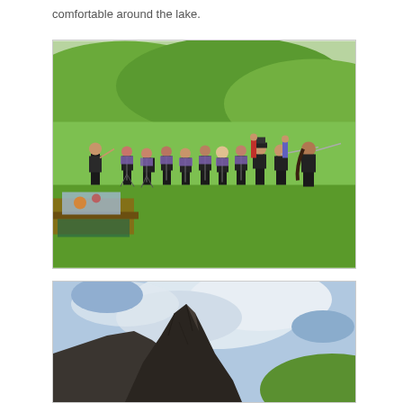comfortable around the lake.
[Figure (photo): Outdoor band performance: a group of musicians dressed in black playing instruments (flutes/woodwinds) on a green grassy field with rolling green hills in the background. A conductor stands to the left. A picnic table with items is visible in the foreground left. Some bystanders visible in the background.]
[Figure (photo): Dramatic mountain peak with rocky cliffs rising against a cloudy sky with blue patches. Green hillside visible at lower right.]